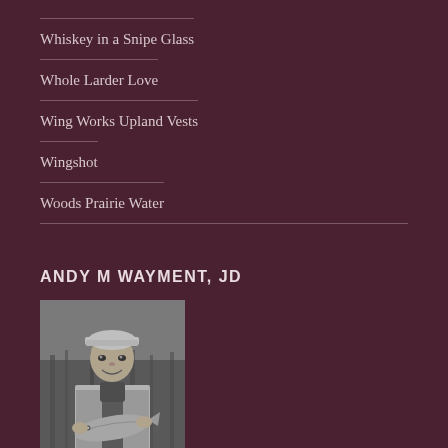Whiskey in a Snipe Glass
Whole Larder Love
Wing Works Upland Vests
Wingshot
Woods Prairie Water
ANDY M WAYMENT, JD
[Figure (photo): Black and white photo of a man wearing a cap and vest, smiling and holding a large fish (trout), with tall grass in the background.]